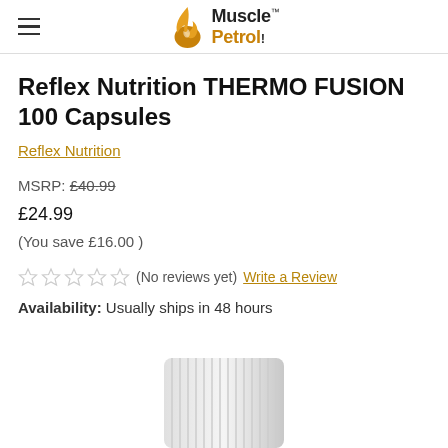Muscle Petrol (logo/navigation header)
Reflex Nutrition THERMO FUSION 100 Capsules
Reflex Nutrition
MSRP: £40.99
£24.99
(You save £16.00 )
(No reviews yet) Write a Review
Availability: Usually ships in 48 hours
[Figure (photo): Bottom portion of a white supplement bottle/container]